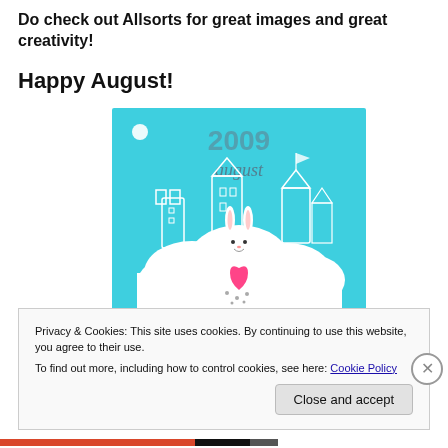Do check out Allsorts for great images and great creativity!
Happy August!
[Figure (illustration): A light blue calendar illustration for August 2009 featuring a cute white bunny holding a pink heart, sitting on a white cloud with a castle/towers in the background. Text reads '2009 august' at top and 'putting hands together!' at bottom.]
Privacy & Cookies: This site uses cookies. By continuing to use this website, you agree to their use.
To find out more, including how to control cookies, see here: Cookie Policy